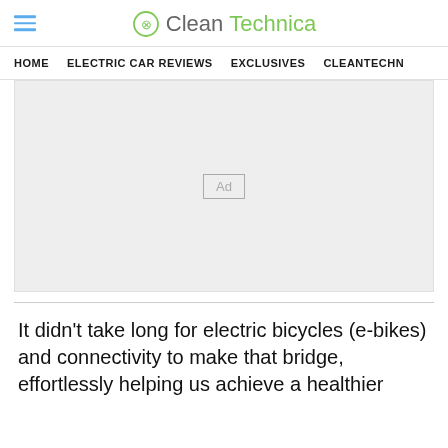CleanTechnica
HOME  ELECTRIC CAR REVIEWS  EXCLUSIVES  CLEANTECHN
[Figure (other): Advertisement placeholder box with 'Ad' label]
It didn't take long for electric bicycles (e-bikes) and connectivity to make that bridge, effortlessly helping us achieve a healthier